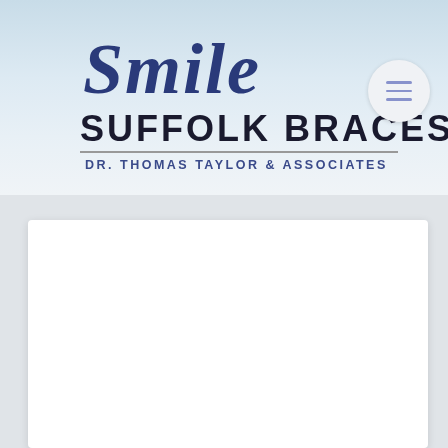[Figure (logo): Smile Suffolk Braces logo with script 'Smile' text above bold 'SUFFOLK BRACES' and 'DR. THOMAS TAYLOR & ASSOCIATES' subtitle, with a hamburger menu button in the top right corner]